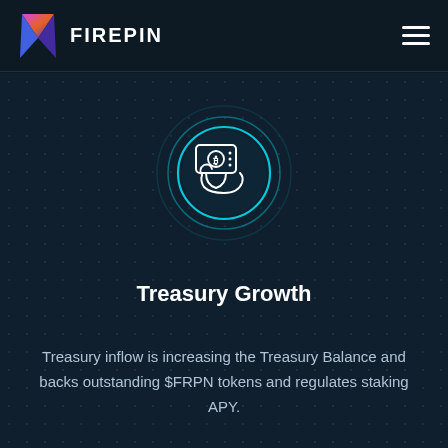FIREPIN
[Figure (illustration): Circular icon showing a hand holding a card/device with a bitcoin symbol, surrounded by two concentric teal/cyan circles on a dark dotted background]
Treasury Growth
Treasury inflow is increasing the Treasury Balance and backs outstanding $FRPN tokens and regulates staking APY.